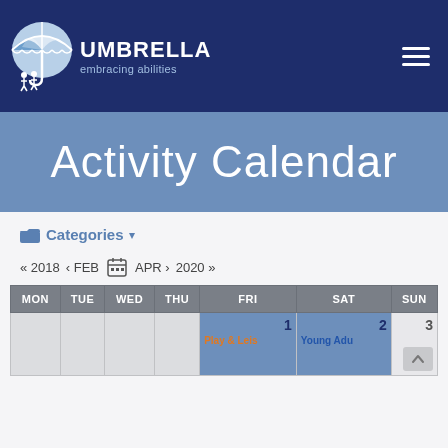Umbrella embracing abilities
Activity Calendar
Categories
« 2018   ‹ FEB   [calendar icon]   APR ›   2020 »
| MON | TUE | WED | THU | FRI | SAT | SUN |
| --- | --- | --- | --- | --- | --- | --- |
|  |  |  |  | 1 | 2 | 3 |
|  |  |  |  | Play & Leis | Young Adu |  |